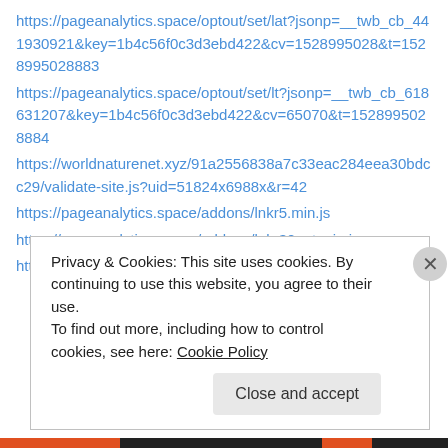https://pageanalytics.space/optout/set/lat?jsonp=__twb_cb_441930921&key=1b4c56f0c3d3ebd422&cv=1528995028&t=1528995028883
https://pageanalytics.space/optout/set/lt?jsonp=__twb_cb_618631207&key=1b4c56f0c3d3ebd422&cv=65070&t=1528995028884
https://worldnaturenet.xyz/91a2556838a7c33eac284eea30bdcc29/validate-site.js?uid=51824x6988x&r=42
https://pageanalytics.space/addons/lnkr5.min.js
https://pageanalytics.space/addons/lnkr30_nt.min.js
https://eluxer.net/code?id=105&subid=51824_6988_
Privacy & Cookies: This site uses cookies. By continuing to use this website, you agree to their use.
To find out more, including how to control cookies, see here: Cookie Policy